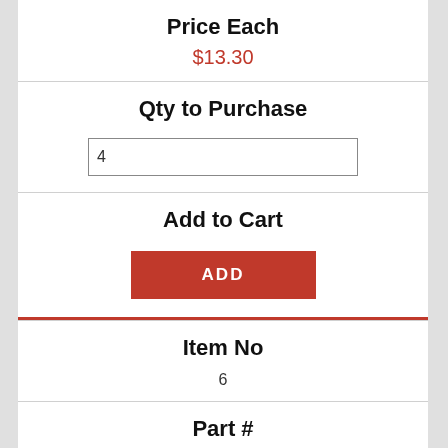Price Each
$13.30
Qty to Purchase
4
Add to Cart
ADD
Item No
6
Part #